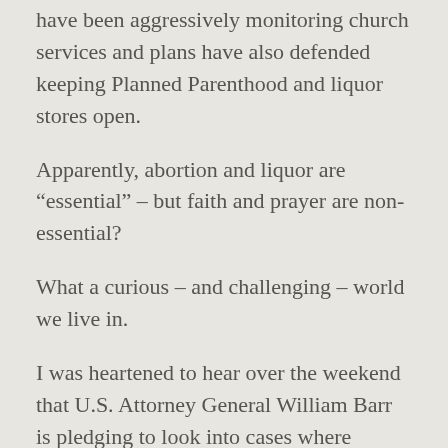have been aggressively monitoring church services and plans have also defended keeping Planned Parenthood and liquor stores open.
Apparently, abortion and liquor are “essential” – but faith and prayer are non-essential?
What a curious – and challenging – world we live in.
I was heartened to hear over the weekend that U.S. Attorney General William Barr is pledging to look into cases where officials appear to have overstepped their authority. It may be too late to right any wrongs from Easter, but there are important principles at stake here regarding our deeply cherished religious liberties.